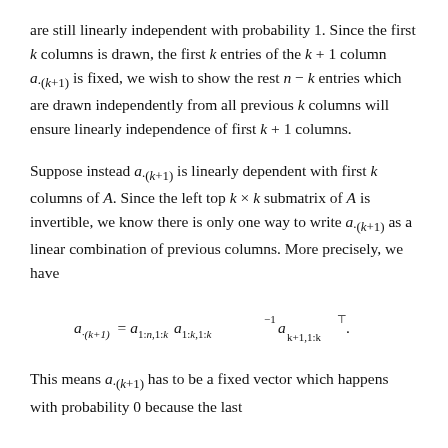are still linearly independent with probability 1. Since the first k columns is drawn, the first k entries of the k + 1 column a·(k+1) is fixed, we wish to show the rest n − k entries which are drawn independently from all previous k columns will ensure linearly independence of first k + 1 columns.
Suppose instead a·(k+1) is linearly dependent with first k columns of A. Since the left top k × k submatrix of A is invertible, we know there is only one way to write a·(k+1) as a linear combination of previous columns. More precisely, we have
This means a·(k+1) has to be a fixed vector which happens with probability 0 because the last...